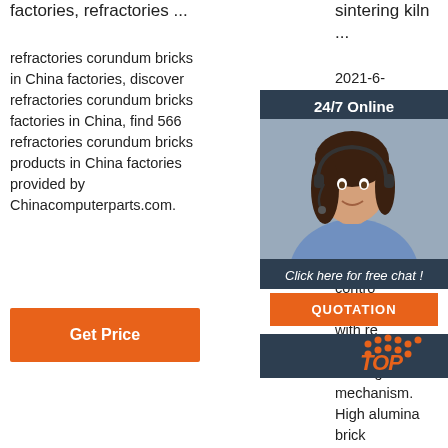factories, refractories ...
refractories corundum bricks in China factories, discover refractories corundum bricks factories in China, find 566 refractories corundum bricks products in China factories provided by Chinacomputerparts.com.
[Figure (other): Orange 'Get Price' button]
sintering kiln ...
2021-6-17u2002·u2002To meet the requirements of different temperature range, temperature atmosphere should be controlled homogeneously with reasonable combustion and heating mechanism. High alumina brick manufacturers considering the
[Figure (infographic): 24/7 Online chat widget with woman wearing headset, 'Click here for free chat!' text, orange QUOTATION button, and TOP logo in orange/red dots]